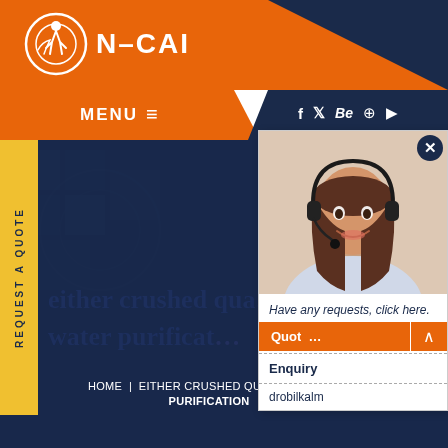[Figure (logo): N-CAI logo with orange circular emblem and company name in white on orange header bar]
N-CAI
MENU ≡
f  t  Be  ⊕  ▶
REQUEST A QUOTE
[Figure (photo): Customer service woman wearing a headset, smiling, shown in a popup chat widget]
Have any requests, click here.
Quota
Enquiry
drobilkalm
either crushed qua... water purificat...
HOME  |  EITHER CRUSHED QUARTZ |  PURIFICATION